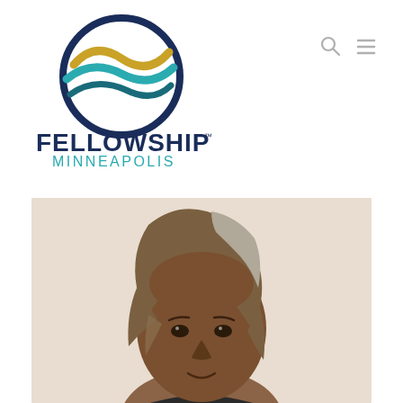[Figure (logo): Fellowship Minneapolis logo with circular emblem containing wave shapes in gold and teal, with dark navy circle outline, and text FELLOWSHIP in bold dark navy, MINNEAPOLIS in teal below]
[Figure (photo): Portrait photo of a woman with shoulder-length brown and gray hair, dark eyes, medium skin tone, smiling slightly, against a light beige background]